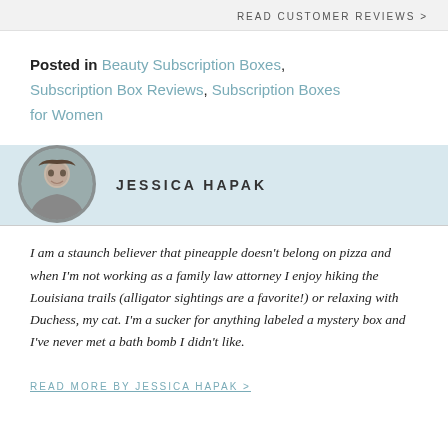READ CUSTOMER REVIEWS >
Posted in Beauty Subscription Boxes, Subscription Box Reviews, Subscription Boxes for Women
JESSICA HAPAK
I am a staunch believer that pineapple doesn't belong on pizza and when I'm not working as a family law attorney I enjoy hiking the Louisiana trails (alligator sightings are a favorite!) or relaxing with Duchess, my cat. I'm a sucker for anything labeled a mystery box and I've never met a bath bomb I didn't like.
READ MORE BY JESSICA HAPAK >